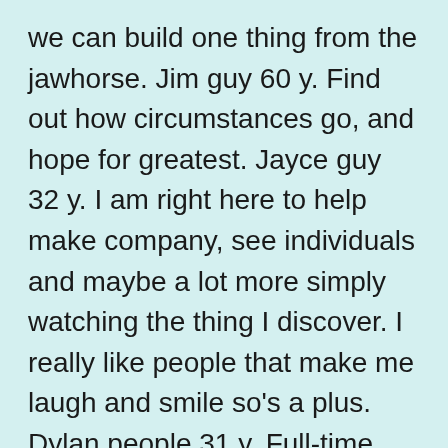we can build one thing from the jawhorse. Jim guy 60 y. Find out how circumstances go, and hope for greatest. Jayce guy 32 y. I am right here to help make company, see individuals and maybe a lot more simply watching the thing I discover. I really like people that make me laugh and smile so's a plus. Dylan people 31 y. Full-time utilized in shopping area. Fun-loving, big cardiovascular system, devoted, outbound after splitting off my personal cover.
I love adventuring, sports, mini golf, theme parks, corny intimate, amusing, very easy to consult with. Query myself what you may wish